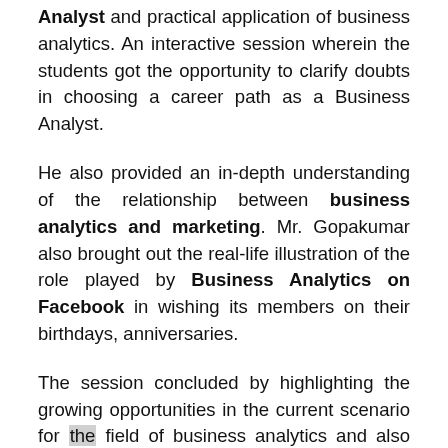Analyst and practical application of business analytics. An interactive session wherein the students got the opportunity to clarify doubts in choosing a career path as a Business Analyst.
He also provided an in-depth understanding of the relationship between business analytics and marketing. Mr. Gopakumar also brought out the real-life illustration of the role played by Business Analytics on Facebook in wishing its members on their birthdays, anniversaries.
The session concluded by highlighting the growing opportunities in the current scenario for the field of business analytics and also the different scopes